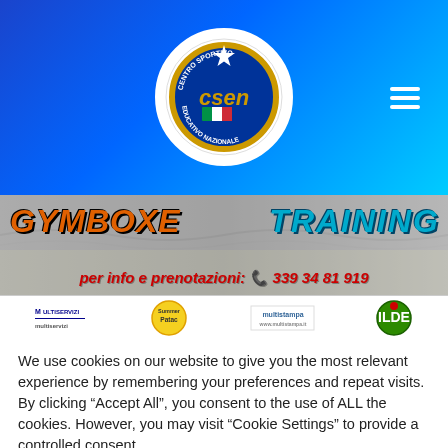[Figure (logo): CSEN Centro Sportivo Educativo Nazionale circular logo with star, blue circle, Italian tricolor flag, and golden text]
[Figure (infographic): Beach/training banner with text GYMBOXE in orange italic and TRAINING in teal italic, plus phone number for reservations]
[Figure (infographic): Sponsor logos row: Multiservizi, Summer Patac, Multistampa, ILDE]
We use cookies on our website to give you the most relevant experience by remembering your preferences and repeat visits. By clicking “Accept All”, you consent to the use of ALL the cookies. However, you may visit "Cookie Settings" to provide a controlled consent.
Cookie Settings
Accept All